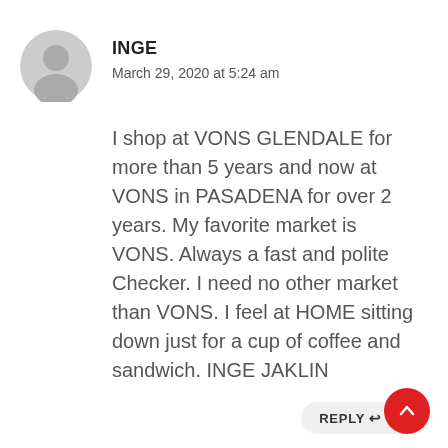[Figure (illustration): Gray circular user avatar icon with silhouette of a person]
INGE
March 29, 2020 at 5:24 am
I shop at VONS GLENDALE for more than 5 years and now at VONS in PASADENA for over 2 years. My favorite market is VONS. Always a fast and polite Checker. I need no other market than VONS. I feel at HOME sitting down just for a cup of coffee and sandwich. INGE JAKLIN
REPLY